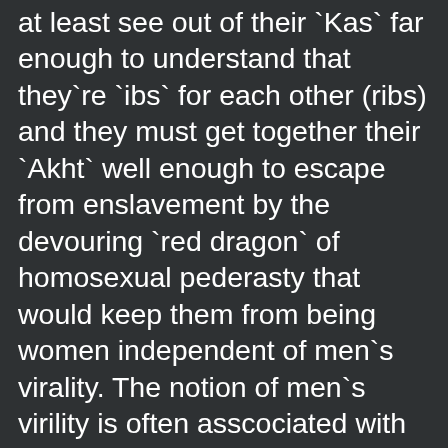at least see out of their `Kas` far enough to understand that they`re `ibs` for each other (ribs) and they must get together their `Akht` well enough to escape from enslavement by the devouring `red dragon` of homosexual pederasty that would keep them from being women independent of men`s virality. The notion of men`s virility is often asscociated with `Babylonia`, but their desire is to be alone in bars with each other, where they can worship Mars, the god of WWI, WWII, Gulf War I, Gulf War II, etc., as the `Martians of the Mars Bars`: